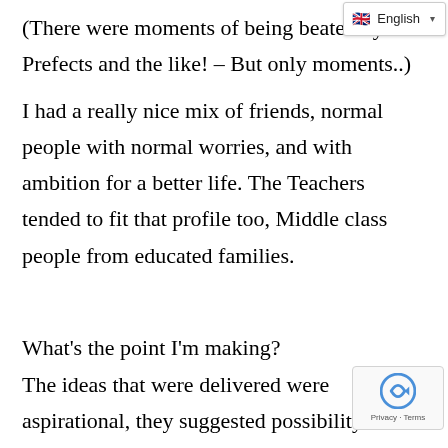(There were moments of being beaten by Prefects and the like! – But only moments..) I had a really nice mix of friends, normal people with normal worries, and with ambition for a better life. The Teachers tended to fit that profile too, Middle class people from educated families.

What's the point I'm making?
The ideas that were delivered were aspirational, they suggested possibility a[nd] success, they hinted at the finer things in life